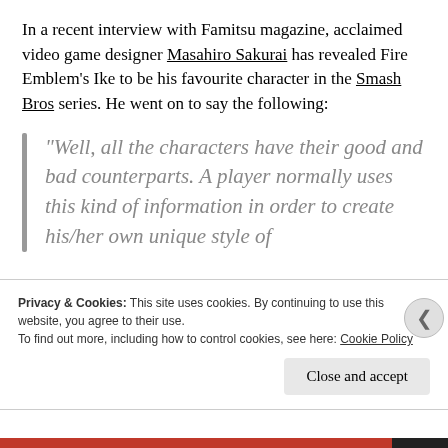In a recent interview with Famitsu magazine, acclaimed video game designer Masahiro Sakurai has revealed Fire Emblem's Ike to be his favourite character in the Smash Bros series. He went on to say the following:
“Well, all the characters have their good and bad counterparts. A player normally uses this kind of information in order to create his/her own unique style of
Privacy & Cookies: This site uses cookies. By continuing to use this website, you agree to their use.
To find out more, including how to control cookies, see here: Cookie Policy